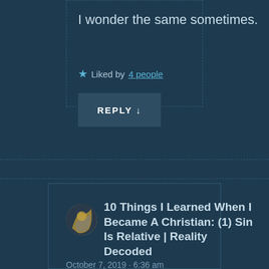I wonder the same sometimes.
Liked by 4 people
REPLY ↓
10 Things I Learned When I Became A Christian: (1) Sin Is Relative | Reality Decoded
October 7, 2019 · 6:36 am